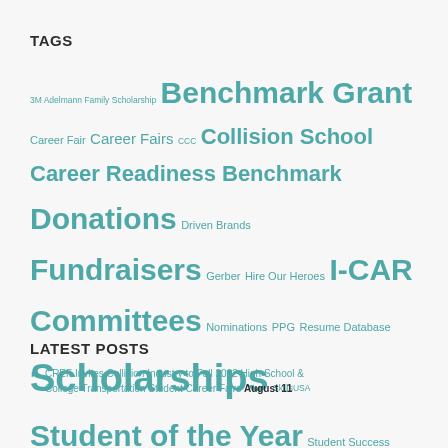TAGS
3M Adelmann Family Scholarship Benchmark Grant Career Fair Career Fairs CCC Collision School Career Readiness Benchmark Donations Driven Brands Fundraisers Gerber Hire Our Heroes I-CAR Committees Nominations PPG Resume Database Scholarships SkillsUSA Student of the Year Student Success TopGolf Top Tech Competition Vehicle Donation
LATEST POSTS
CREF Invites Collision Industry to Fall 2022 High School & College Transportation Student Career Fairs August 11 …